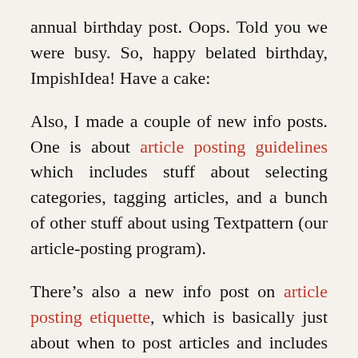annual birthday post. Oops. Told you we were busy. So, happy belated birthday, ImpishIdea! Have a cake:
Also, I made a couple of new info posts. One is about article posting guidelines which includes stuff about selecting categories, tagging articles, and a bunch of other stuff about using Textpattern (our article-posting program).
There’s also a new info post on article posting etiquette, which is basically just about when to post articles and includes some more technical stuff you can do in Textpattern.
Hopefully, I can update the news a bit more frequently and get back into what Kyllorac originally